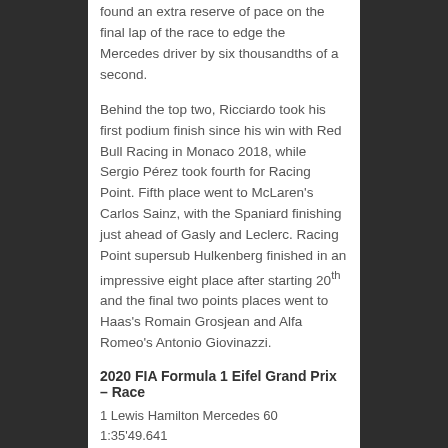found an extra reserve of pace on the final lap of the race to edge the Mercedes driver by six thousandths of a second.
Behind the top two, Ricciardo took his first podium finish since his win with Red Bull Racing in Monaco 2018, while Sergio Pérez took fourth for Racing Point. Fifth place went to McLaren's Carlos Sainz, with the Spaniard finishing just ahead of Gasly and Leclerc. Racing Point supersub Hulkenberg finished in an impressive eight place after starting 20th and the final two points places went to Haas's Romain Grosjean and Alfa Romeo's Antonio Giovinazzi.
2020 FIA Formula 1 Eifel Grand Prix – Race
1 Lewis Hamilton Mercedes 60 1:35'49.641
2 Max Verstappen Red Bull/Honda 60 1:35'54.111 4.470
3 Daniel Ricciardo Renault 60 1:36'04.254 14.613
4 Sergio Pérez Racing Point/Mercedes 60 1:36'05.711 16.070
5 Carlos Sainz McLaren/Renault 60 1:36'11.546